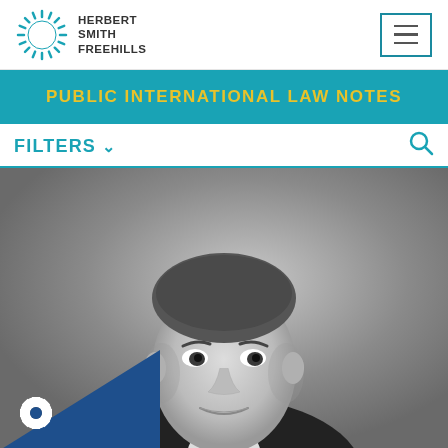Herbert Smith Freehills
PUBLIC INTERNATIONAL LAW NOTES
FILTERS
[Figure (photo): Black and white professional headshot of a man in a suit, smiling slightly, with short brown hair. A blue triangle badge with a gear/cog icon appears in the bottom-left corner of the image.]